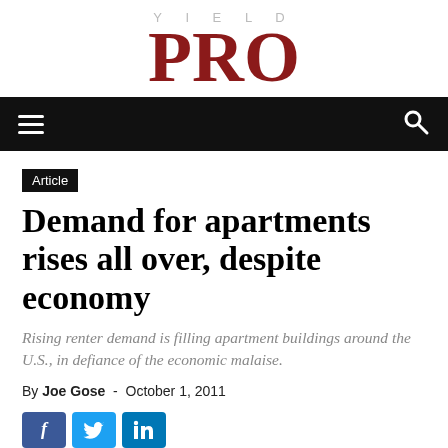YIELD PRO
Article
Demand for apartments rises all over, despite economy
Rising renter demand is filling apartment buildings around the U.S., in defiance of the economic malaise.
By Joe Gose - October 1, 2011